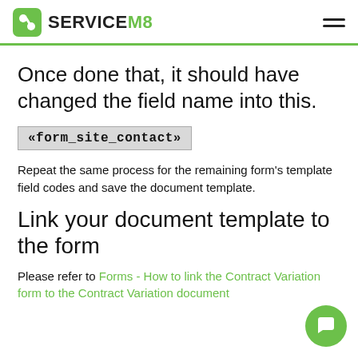ServiceM8
Once done that, it should have changed the field name into this.
«form_site_contact»
Repeat the same process for the remaining form's template field codes and save the document template.
Link your document template to the form
Please refer to Forms - How to link the Contract Variation form to the Contract Variation document